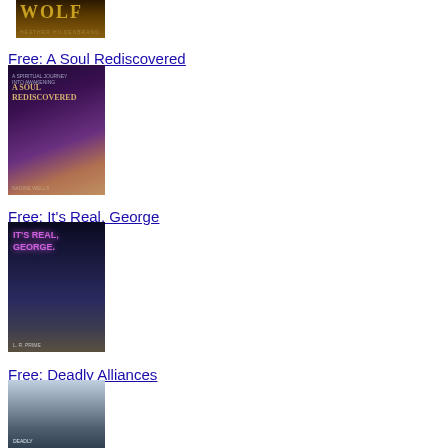[Figure (illustration): Book cover for a title partially visible at top, showing WOLF by HEATHER HILDENBRAND]
Free: A Soul Rediscovered
[Figure (illustration): Book cover for A Soul Rediscovered showing a silhouette of a face with cosmic/space imagery overlay]
Free: It's Real, George
[Figure (illustration): Book cover for It's Real, George showing two figures walking toward a light, by L.R. PRIME]
Free: Deadly Alliances
[Figure (illustration): Book cover for Deadly Alliances showing a stormy sky/water scene]